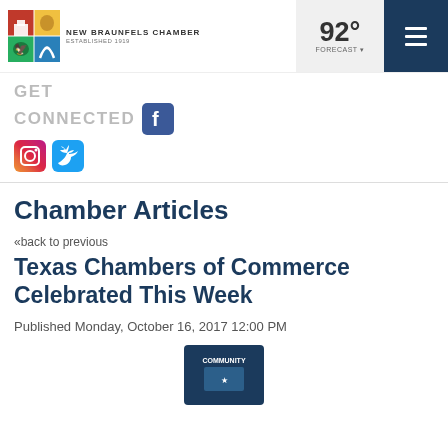NEW BRAUNFELS CHAMBER ESTABLISHED 1919
GET CONNECTED
Chamber Articles
«back to previous
Texas Chambers of Commerce Celebrated This Week
Published Monday, October 16, 2017 12:00 PM
[Figure (logo): Community logo image at bottom of page]